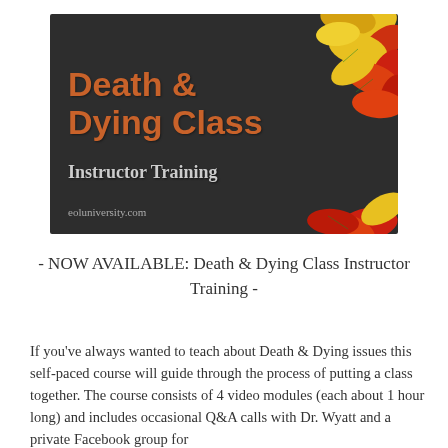[Figure (illustration): Promotional image for 'Death & Dying Class Instructor Training' on a dark chalkboard background with colorful autumn leaves (red, yellow, orange). Text on image: 'Death & Dying Class' in orange, 'Instructor Training' in grey/white, and 'eoluniversity.com' at the bottom.]
- NOW AVAILABLE: Death & Dying Class Instructor Training -
If you've always wanted to teach about Death & Dying issues this self-paced course will guide through the process of putting a class together. The course consists of 4 video modules (each about 1 hour long) and includes occasional Q&A calls with Dr. Wyatt and a private Facebook group for